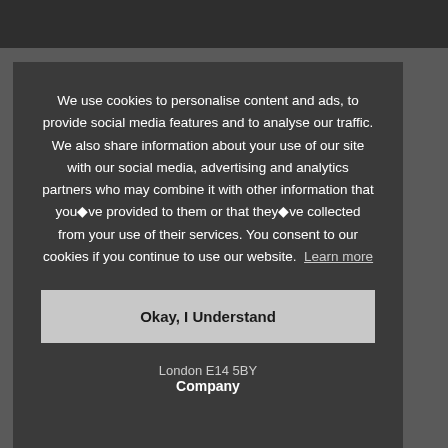We use cookies to personalise content and ads, to provide social media features and to analyse our traffic. We also share information about your use of our site with our social media, advertising and analytics partners who may combine it with other information that you◆ve provided to them or that they◆ve collected from your use of their services. You consent to our cookies if you continue to use our website. Learn more
Okay, I Understand
London E14 5BY
Company